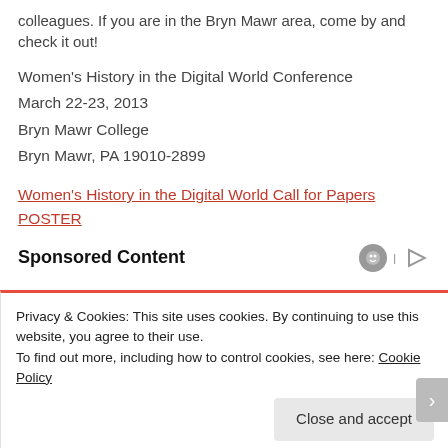colleagues. If you are in the Bryn Mawr area, come by and check it out!
Women's History in the Digital World Conference
March 22-23, 2013
Bryn Mawr College
Bryn Mawr, PA 19010-2899
Women's History in the Digital World Call for Papers POSTER
Sponsored Content
Privacy & Cookies: This site uses cookies. By continuing to use this website, you agree to their use.
To find out more, including how to control cookies, see here: Cookie Policy